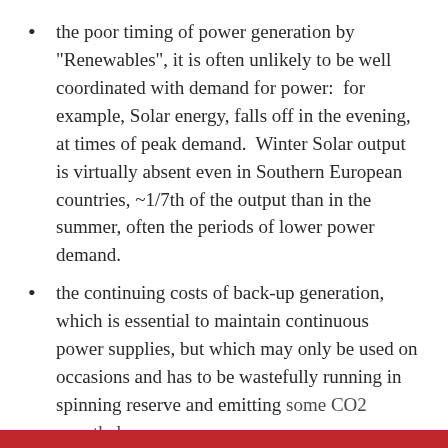the poor timing of power generation by “Renewables”, it is often unlikely to be well coordinated with demand for power: for example, Solar energy, falls off in the evening, at times of peak demand. Winter Solar output is virtually absent even in Southern European countries, ~1/7th of the output than in the summer, often the periods of lower power demand.
the continuing costs of back-up generation, which is essential to maintain continuous power supplies, but which may only be used on occasions and has to be wastefully running in spinning reserve and emitting some CO2 nonetheless